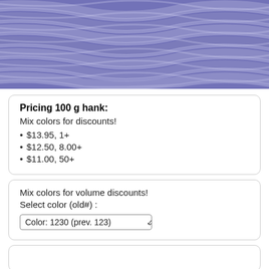[Figure (photo): Close-up of purple/lavender 2-ply wool yarn texture]
Pricing 100 g hank:
Mix colors for discounts!
• $13.95, 1+
• $12.50, 8.00+
• $11.00, 50+
Mix colors for volume discounts!
Select color (old#) :
Color: 1230 (prev. 123)
Victorian 2-Ply Wool Yarn details: